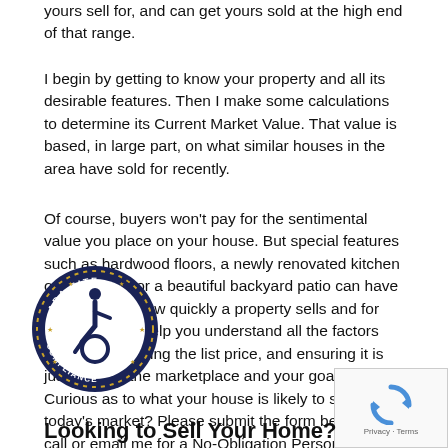yours sell for, and can get yours sold at the high end of that range.
I begin by getting to know your property and all its desirable features. Then I make some calculations to determine its Current Market Value. That value is based, in large part, on what similar houses in the area have sold for recently.
Of course, buyers won't pay for the sentimental value you place on your house. But special features such as hardwood floors, a newly renovated kitchen or bathroom, or a beautiful backyard patio can have an impact on how quickly a property sells and for what price. I'll help you understand all the factors that go into setting the list price, and ensuring it is just right for the marketplace and your goals.
Curious as to what your house is likely to sell for in today's market? Please submit the form below or call or email me for a No-Obligation Personal Consultation. I've got the answers for you.
[Figure (logo): ADA Site Compliance badge — circular dark navy seal with gold stars, wheelchair accessibility icon in center, text 'ADA SITE COMPLIANCE' around the border]
[Figure (logo): Google reCAPTCHA widget — grey box with spinning arrows icon and 'Privacy · Terms' text]
Looking to Sell Your Home?